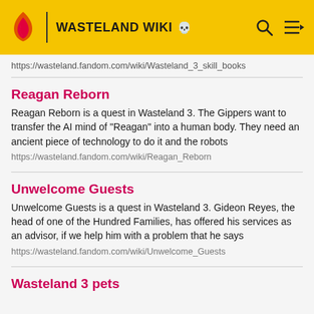WASTELAND WIKI
https://wasteland.fandom.com/wiki/Wasteland_3_skill_books
Reagan Reborn
Reagan Reborn is a quest in Wasteland 3. The Gippers want to transfer the AI mind of "Reagan" into a human body. They need an ancient piece of technology to do it and the robots
https://wasteland.fandom.com/wiki/Reagan_Reborn
Unwelcome Guests
Unwelcome Guests is a quest in Wasteland 3. Gideon Reyes, the head of one of the Hundred Families, has offered his services as an advisor, if we help him with a problem that he says
https://wasteland.fandom.com/wiki/Unwelcome_Guests
Wasteland 3 pets